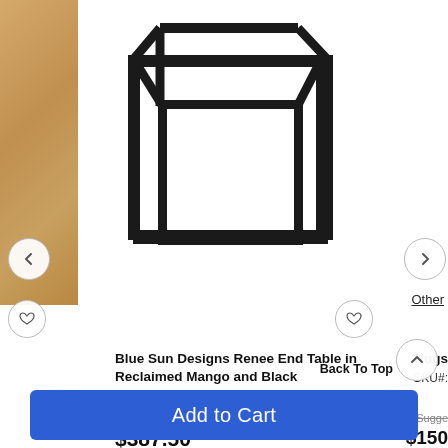[Figure (photo): Black metal hexagonal end table frame on white background, with tan/wood panel visible on the left edge. Navigation arrows and heart/favorite icons visible.]
Other
Blue Sun Designs Renee End Table in Reclaimed Mango and Black
SKU#: 62099171
Suggested Retail $530.00
$387.50
SAVE 26%
Rugs
SKU#:
Sugge...
$150
SAVE
Back To Top
Add to Cart